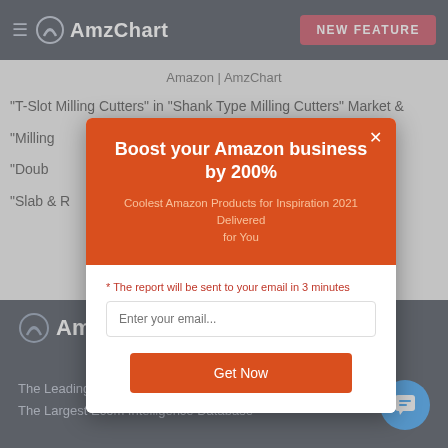AmzChart — NEW FEATURE
Amazon | AmzChart
"T-Slot Milling Cutters" in "Shank Type Milling Cutters" Market &
"Milling ... Product
"Doub... arch on
"Slab & R... " Market
[Figure (screenshot): Modal popup with orange header: 'Boost your Amazon business by 200%', subtitle 'Coolest Amazon Products for Inspiration 2021 Delivered for You', email input field, and 'Get Now' orange button]
AmzChart — The Leading Amazon Analysis Tool — The Largest Ecom Intelligence Database